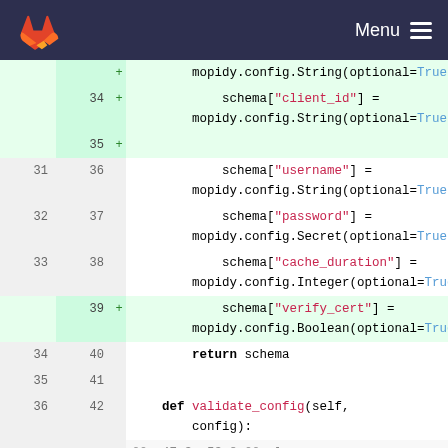GitLab navigation with logo and Menu
[Figure (screenshot): Code diff view showing lines 31-54 of a Python file with additions for client_id, verify_cert schema fields and validate_config method]